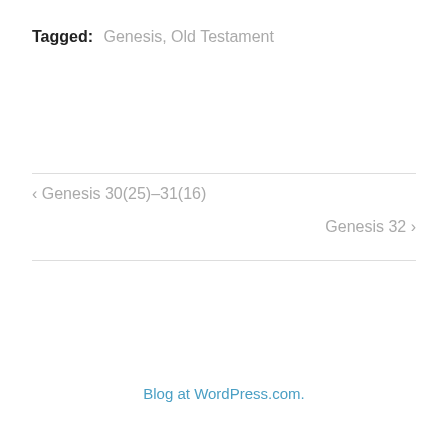Tagged: Genesis, Old Testament
< Genesis 30(25)–31(16)
Genesis 32 >
Blog at WordPress.com.